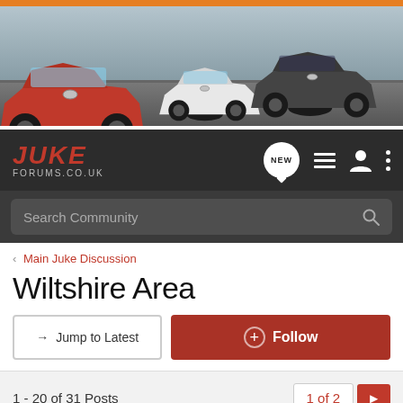[Figure (photo): Banner image showing three Nissan Juke cars on a track – red on left, white in center, dark/grey on right. Orange bar at top.]
JUKE FORUMS.CO.UK — navigation bar with NEW bubble, list icon, user icon, dots menu
Search Community
< Main Juke Discussion
Wiltshire Area
→ Jump to Latest
+ Follow
1 - 20 of 31 Posts
1 of 2 ▶
K12THH · Registered